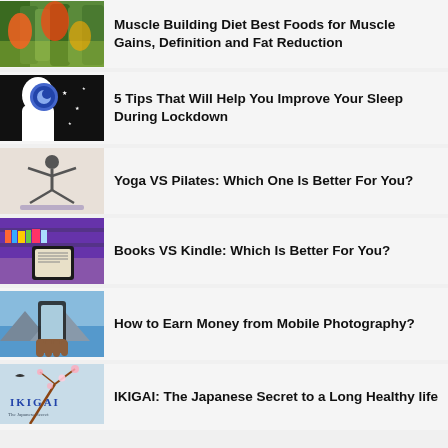Muscle Building Diet Best Foods for Muscle Gains, Definition and Fat Reduction
5 Tips That Will Help You Improve Your Sleep During Lockdown
Yoga VS Pilates: Which One Is Better For You?
Books VS Kindle: Which Is Better For You?
How to Earn Money from Mobile Photography?
IKIGAI: The Japanese Secret to a Long Healthy life